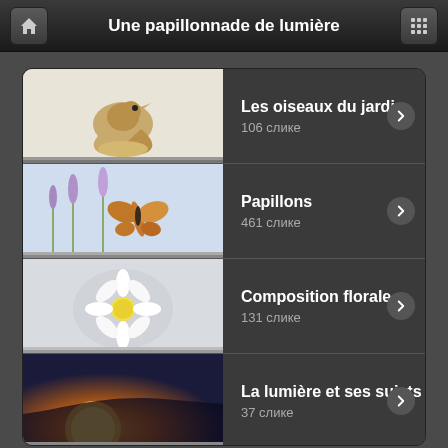Une papillonnade de lumière
Les oiseaux du jardin — 106 слике
Papillons — 461 слике
Composition florale — 131 слике
La lumière et ses sujets — 37 слике
Le sous bois enchanté